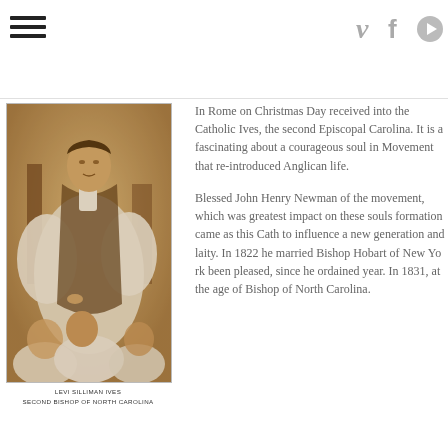Navigation header with hamburger menu and social icons (Vimeo, Facebook, Play)
[Figure (photo): Sepia-toned engraving portrait of Levi Silliman Ives, Second Bishop of North Carolina, standing in bishop's vestments with several women kneeling before him]
LEVI SILLIMAN IVES
SECOND BISHOP OF NORTH CAROLINA
In Rome on Christmas Da... received into the Catholic... Ives, the second Episcopa... Carolina. It is a fascinating... about a courageous soul i... Movement that re-introduc... Anglican life.
Blessed John Henry Newm... of the movement, which w... greatest impact on these s... formation came as this Ca... to influence a new genera... and laity. In 1822 he marri... Bishop Hobart of New Yo... been pleased, since he or... year. In 1831, at the age o... Bishop of North Carolina.